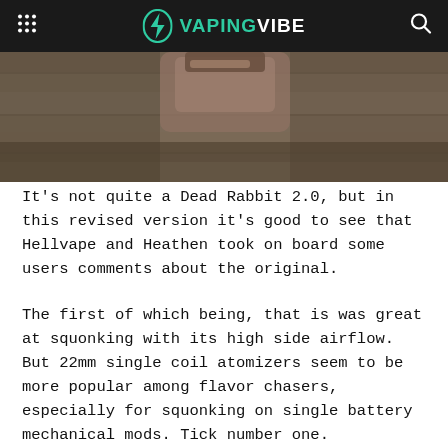VAPINGVIBE
[Figure (photo): Close-up photo of a vaping device or RDA on a wooden surface, partially cropped at bottom of image]
It's not quite a Dead Rabbit 2.0, but in this revised version it's good to see that Hellvape and Heathen took on board some users comments about the original.
The first of which being, that is was great at squonking with its high side airflow. But 22mm single coil atomizers seem to be more popular among flavor chasers, especially for squonking on single battery mechanical mods. Tick number one.